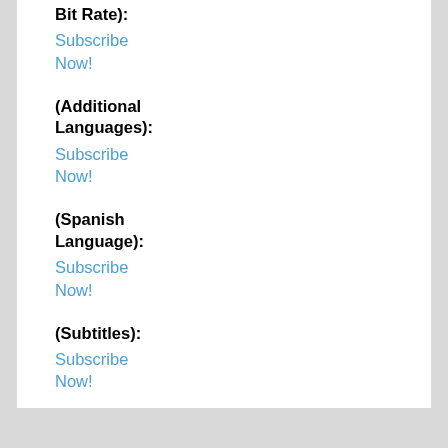Bit Rate):
Subscribe Now!
(Additional Languages):
Subscribe Now!
(Spanish Language):
Subscribe Now!
(Subtitles):
Subscribe Now!